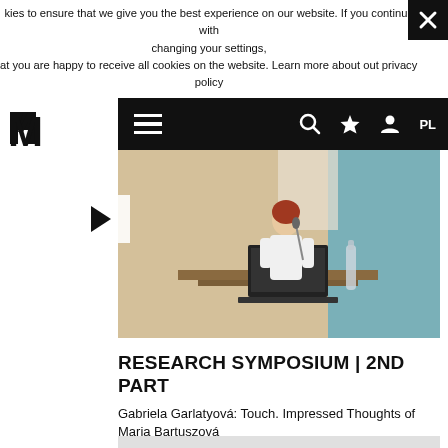kies to ensure that we give you the best experience on our website. If you continue with changing your settings, that you are happy to receive all cookies on the website. Learn more about out privacy policy
[Figure (screenshot): Museum website navigation bar with M logo, hamburger menu, search icon, star icon, person icon, and PL language selector on black background]
[Figure (photo): Video thumbnail showing a woman speaking at a podium/lectern at a conference or symposium, with a laptop in front of her and a presentation screen behind. A play button overlay is visible on the left side.]
RESEARCH SYMPOSIUM | 2ND PART
Gabriela Garlatyová: Touch. Impressed Thoughts of Maria Bartuszová
SAT, Sep 27, 2014